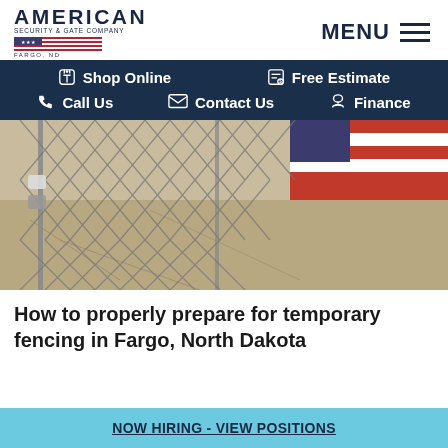AMERICAN SECURITY & GATE COMPANY FARGO, ND | MENU
Shop Online
Free Estimate
Call Us
Contact Us
Finance
[Figure (photo): Chain-link temporary fencing close-up with an American flag visible in the background, outdoors on a paved surface]
How to properly prepare for temporary fencing in Fargo, North Dakota
NOW HIRING - VIEW POSITIONS